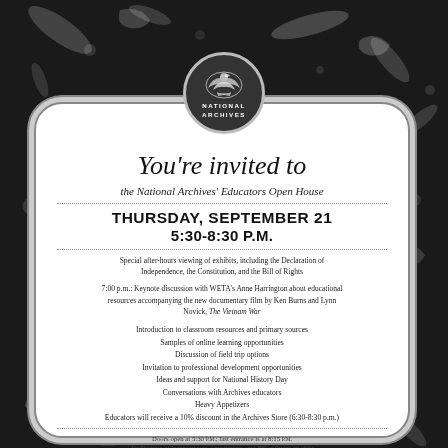[Figure (logo): National Archives circular logo with eagle/wave motif on dark background]
You're invited to
the National Archives' Educators Open House
THURSDAY, SEPTEMBER 21
5:30-8:30 P.M.
Special after-hours viewing of exhibits, including the Declaration of Independence, the Constitution, and the Bill of Rights
7:00 p.m.: Keynote discussion with WETA's Anne Harrington about educational resources accompanying the new documentary film by Ken Burns and Lynn Novick, The Vietnam War
Introduction to classroom resources and primary sources
Samples of online learning opportunities
Discussion of field trip options
Invitation to professional development opportunities
Ideas and support for National History Day
Conversations with Archives educators
Heavy Appetizers
Educators will receive a 10% discount in the Archives Store (6:30-8:30 p.m.)
Doors open at 5:30 P.M.; last entrance is at 8:15 P.M.
Declaration of Independence, Constitution, and Bill of Rights on view